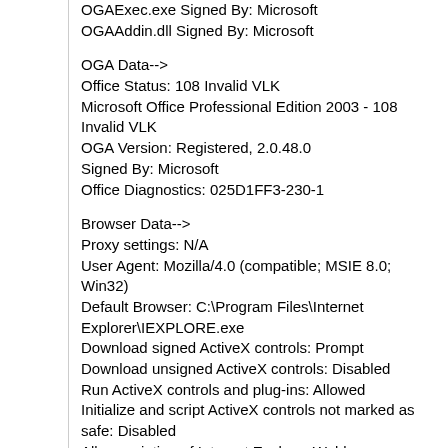OGAExec.exe Signed By: Microsoft
OGAAddin.dll Signed By: Microsoft
OGA Data-->
Office Status: 108 Invalid VLK
Microsoft Office Professional Edition 2003 - 108 Invalid VLK
OGA Version: Registered, 2.0.48.0
Signed By: Microsoft
Office Diagnostics: 025D1FF3-230-1
Browser Data-->
Proxy settings: N/A
User Agent: Mozilla/4.0 (compatible; MSIE 8.0; Win32)
Default Browser: C:\Program Files\Internet Explorer\IEXPLORE.exe
Download signed ActiveX controls: Prompt
Download unsigned ActiveX controls: Disabled
Run ActiveX controls and plug-ins: Allowed
Initialize and script ActiveX controls not marked as safe: Disabled
Allow scripting of Internet Explorer Webbrowser control: Disabled
Active scripting: Allowed
Script ActiveX controls marked as safe